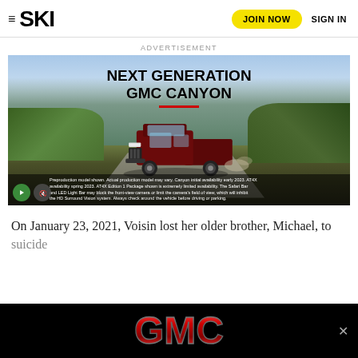≡ SKI  JOIN NOW  SIGN IN
ADVERTISEMENT
[Figure (photo): GMC Canyon advertisement showing a dark red pickup truck on a dirt road with mountains and green hills in the background. Bold text reads NEXT GENERATION GMC CANYON with a red underline bar. Fine print disclaimer at bottom. Play and mute buttons visible.]
On January 23, 2021, Voisin lost her older brother, Michael, to suicide
[Figure (logo): GMC logo in large red lettering on black background banner advertisement at bottom of page]